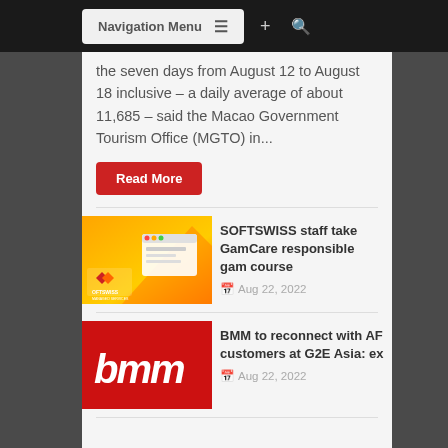Navigation Menu
the seven days from August 12 to August 18 inclusive – a daily average of about 11,685 – said the Macao Government Tourism Office (MGTO) in...
Read More
[Figure (photo): SOFTSWISS Managed Services logo with orange geometric shape background]
SOFTSWISS staff take GamCare responsible gam course
Aug 22, 2022
[Figure (photo): BMM logo in white text on red background]
BMM to reconnect with AF customers at G2E Asia: ex
Aug 22, 2022